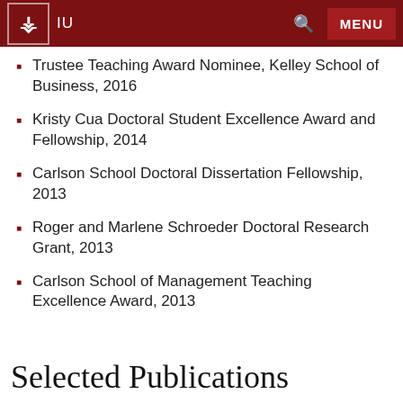IU [navigation bar with logo, search, and menu]
Trustee Teaching Award Nominee, Kelley School of Business, 2016
Kristy Cua Doctoral Student Excellence Award and Fellowship, 2014
Carlson School Doctoral Dissertation Fellowship, 2013
Roger and Marlene Schroeder Doctoral Research Grant, 2013
Carlson School of Management Teaching Excellence Award, 2013
Selected Publications